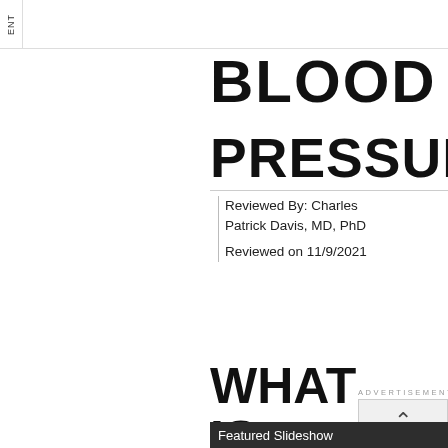ENT
BLOOD PRESSURE
Reviewed By: Charles Patrick Davis, MD, PhD
Reviewed on 11/9/2021
WHAT IS HYPERTENSION?
Featured Slideshow